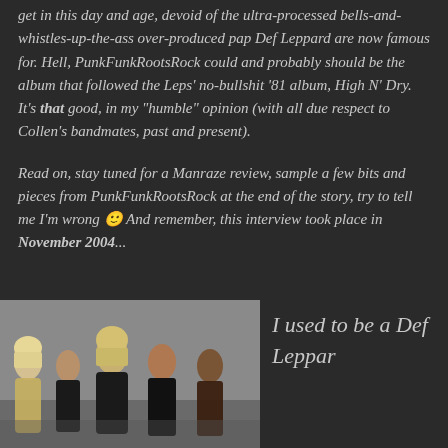get in this day and age, devoid of the ultra-processed bells-and-whistles-up-the-ass over-produced pap Def Leppard are now famous for. Hell, PunkFunkRootsRock could and probably should be the album that followed the Leps' no-bullshit '81 album, High N' Dry. It's that good, in my "humble" opinion (with all due respect to Collen's bandmates, past and present).
Read on, stay tuned for a Manraze review, sample a few bits and pieces from PunkFunkRootsRock at the end of the story, try to tell me I'm wrong 🙂 And remember, this interview took place in November 2004...
[Figure (photo): Band photo of Def Leppard — five members posed against a grey background, wearing dark clothing]
I used to be a Def Leppar